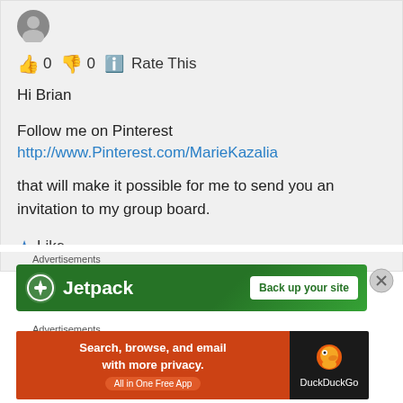[Figure (photo): Small circular avatar photo of a person]
👍 0 👎 0 ℹ️ Rate This
Hi Brian
Follow me on Pinterest
http://www.Pinterest.com/MarieKazalia
that will make it possible for me to send you an invitation to my group board.
★ Like
Advertisements
[Figure (screenshot): Jetpack advertisement banner: green background with Jetpack logo and 'Back up your site' button]
Advertisements
[Figure (screenshot): DuckDuckGo advertisement: 'Search, browse, and email with more privacy. All in One Free App' with DuckDuckGo logo on dark background]